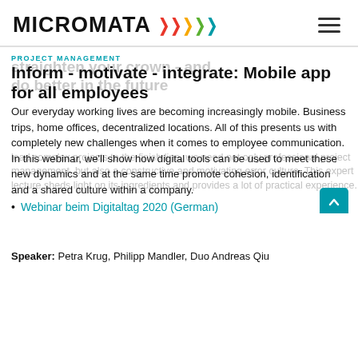MICROMATA
PROJECT MANAGEMENT
Inform - motivate - integrate: Mobile app for all employees
Our everyday working lives are becoming increasingly mobile. Business trips, home offices, decentralized locations. All of this presents us with completely new challenges when it comes to employee communication. In this webinar, we'll show how digital tools can be used to meet these new dynamics and at the same time promote cohesion, identification and a shared culture within a company.
Webinar beim Digitaltag 2020 (German)
Speaker: Petra Krug, Philipp Mandler, Duo Andreas Qiu